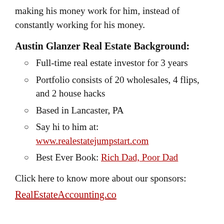making his money work for him, instead of constantly working for his money.
Austin Glanzer Real Estate Background:
Full-time real estate investor for 3 years
Portfolio consists of 20 wholesales, 4 flips, and 2 house hacks
Based in Lancaster, PA
Say hi to him at: www.realestatejumpstart.com
Best Ever Book: Rich Dad, Poor Dad
Click here to know more about our sponsors:
RealEstateAccounting.co